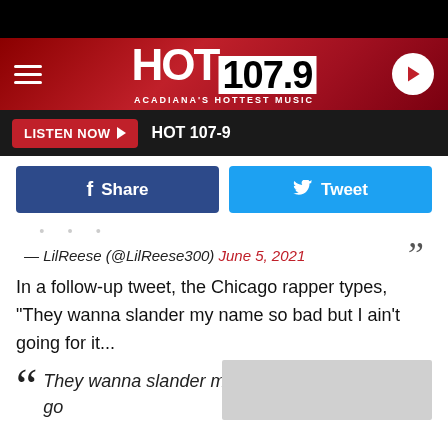HOT 107.9 — ACADIANA'S HOTTEST MUSIC
LISTEN NOW | HOT 107-9
Share  Tweet
— LilReese (@LilReese300) June 5, 2021
In a follow-up tweet, the Chicago rapper types, "They wanna slander my name so bad but I ain't going for it...
They wanna slander my name so bad but I ain't go